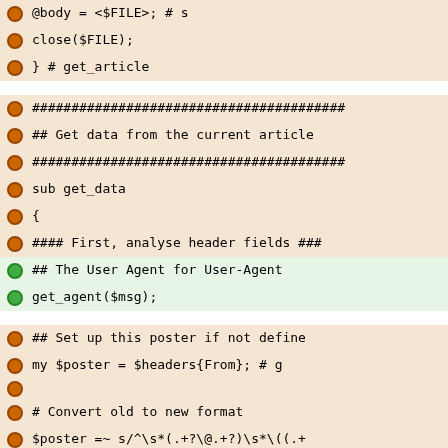[Figure (screenshot): Code diff showing Perl source code with removed lines (orange/red) and added lines (green). Shows functions get_article and get_data with diff markers.]